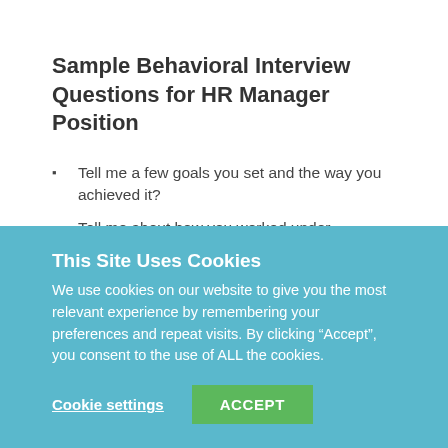Sample Behavioral Interview Questions for HR Manager Position
Tell me a few goals you set and the way you achieved it?
Tell me about how you worked under pressure?
Tell me a few goals you did not achieve?
How do you stay motivated when the task you are doing is repetitive?
How difficult was it for you to say “no” to a task?
This Site Uses Cookies
We use cookies on our website to give you the most relevant experience by remembering your preferences and repeat visits. By clicking “Accept”, you consent to the use of ALL the cookies.
Cookie settings   ACCEPT